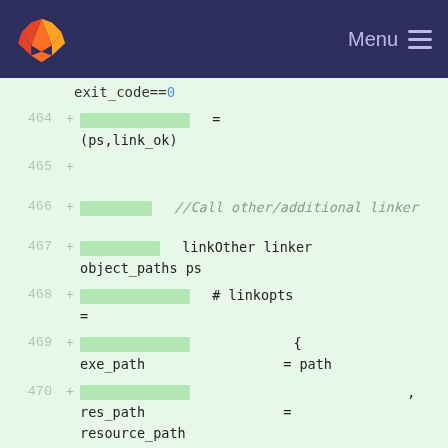GitLab — Menu
exit_code==0
464 +  [highlight] = (ps,link_ok)
465 +
466 +  [highlight] //Call other/additional linker
467 +  [highlight] linkOther linker object_paths ps
468 +  [highlight] # linkopts =
469 +  [highlight] { exe_path = path
470 +  [highlight] , res_path = resource_path
471 +  [highlight] , open_console = o <> NoConsole
472 +  [highlight] , static_link = static